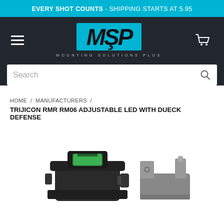EVERY SHOT COUNTS - SHIPPING STARTS AT 5.95
[Figure (logo): MSP Mounting Solutions Plus logo — cyan blue background with bold black italic letters MSP and subtitle MOUNTING SOLUTIONS PLUS in gray]
Search
HOME / MANUFACTURERS /
TRIJICON RMR RM06 ADJUSTABLE LED WITH DUECK DEFENSE
[Figure (photo): Product photo showing a Trijicon RMR RM06 red dot sight with green lens and a Dueck Defense mount/backup iron sight, on a white background]